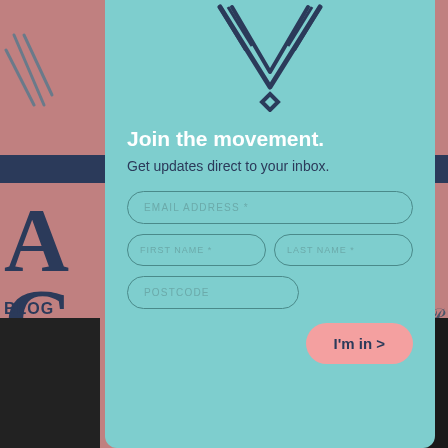[Figure (logo): Geometric W logo in dark navy with diamond shape, centered at top of modal]
Join the movement.
Get updates direct to your inbox.
EMAIL ADDRESS *
FIRST NAME *
LAST NAME *
POSTCODE
I'm in >